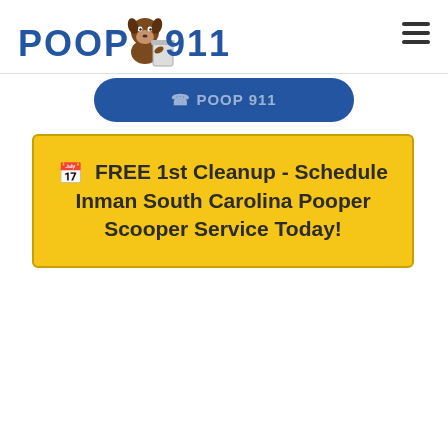POOP 911
[Figure (logo): Poop 911 logo with cartoon dog reading newspaper next to toilet, blue text reading POOP 911]
[Figure (other): Blue rounded rectangle button, partially visible]
FREE 1st Cleanup - Schedule Inman South Carolina Pooper Scooper Service Today!